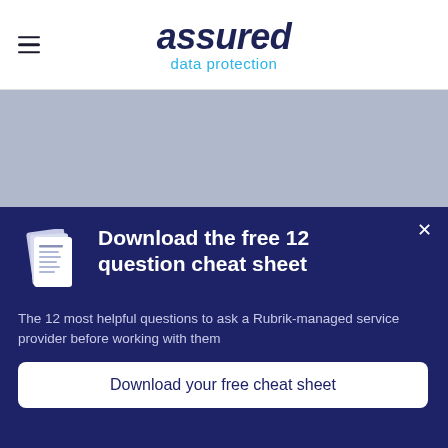[Figure (logo): Assured Data Protection logo with hamburger menu icon on the left]
[Figure (illustration): Light blue-grey hero banner image area]
Download the free 12 question cheat sheet
The 12 most helpful questions to ask a Rubrik-managed service provider before working with them
Download your free cheat sheet